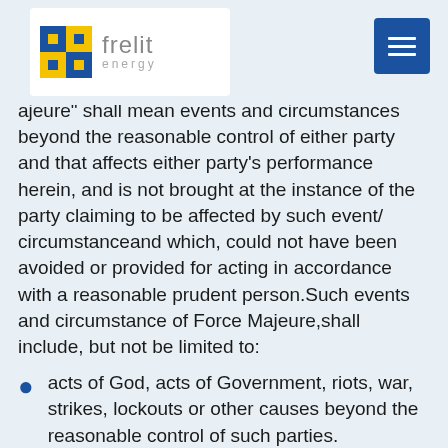frelit energy
ajeure" shall mean events and circumstances beyond the reasonable control of either party and that affects either party's performance herein, and is not brought at the instance of the party claiming to be affected by such event/ circumstanceand which, could not have been avoided or provided for acting in accordance with a reasonable prudent person.Such events and circumstance of Force Majeure,shall include, but not be limited to:
acts of God, acts of Government, riots, war, strikes, lockouts or other causes beyond the reasonable control of such parties.
Non-performance or delay in performance of the Terms of Use by a Party, shall not give rise to a